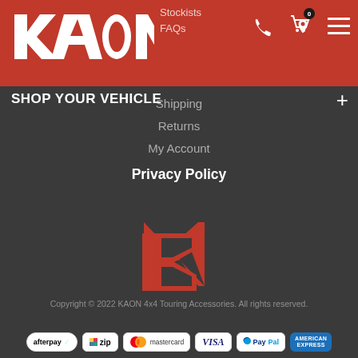[Figure (logo): KAON brand logo in white on red header bar]
Stockists
FAQs
Shipping
Returns
My Account
Privacy Policy
SHOP YOUR VEHICLE
[Figure (logo): KAON K-shape red mark logo centered on dark background]
Copyright © 2022 KAON 4x4 Touring Accessories. All rights reserved.
[Figure (infographic): Payment method logos: afterpay, zip, mastercard, VISA, PayPal, American Express]